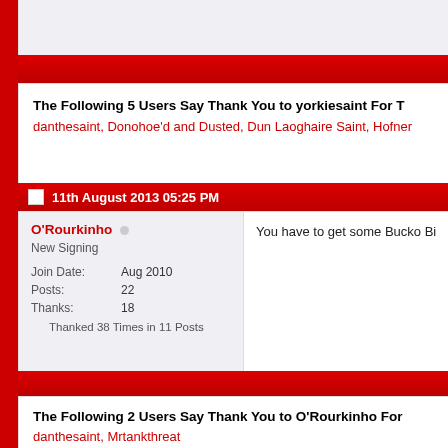The Following 5 Users Say Thank You to yorkiesaint For T
danthesaint, Donohoe'd and Dusted, Dun Laoghaire Saint, Hofner
11th August 2013 05:25 PM
O'Rourkinho
New Signing
Join Date: Aug 2010
Posts: 22
Thanks: 18
Thanked 38 Times in 11 Posts
You have to get some Bucko Bi
The Following 2 Users Say Thank You to O'Rourkinho For
danthesaint, Mrtankthreat